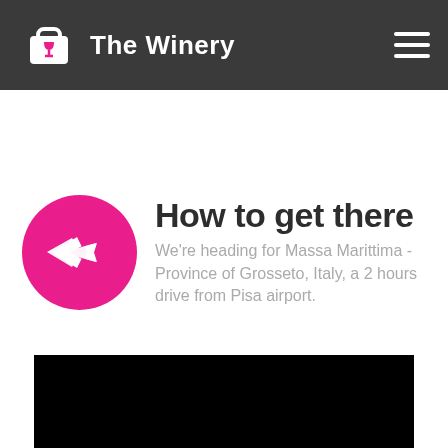The Winery
How to get there
We're heading for Massa Marittima - Province of Grosseto, Italy, a 2 hours drive from Pisa airport.
[Figure (photo): Black image placeholder at the bottom of the page]